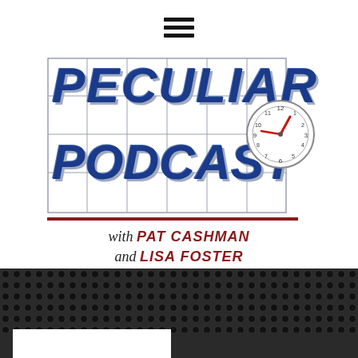[Figure (logo): Hamburger menu icon (three horizontal black bars)]
PECULIAR PODCAST
[Figure (illustration): Analog clock showing approximately 1:48, with red hands, gray/white face, surrounded by a grid background]
with PAT CASHMAN and LISA FOSTER
[Figure (photo): Dark speaker grille texture (black perforated metal pattern) at the bottom of the image, with a white rectangle at bottom left]